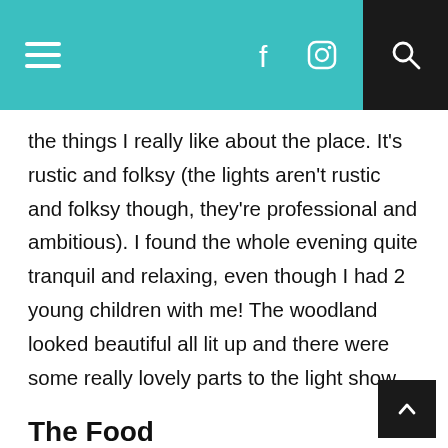Navigation header with hamburger menu, Facebook and Instagram icons, and search icon
the things I really like about the place. It’s rustic and folksy (the lights aren’t rustic and folksy though, they’re professional and ambitious). I found the whole evening quite tranquil and relaxing, even though I had 2 young children with me! The woodland looked beautiful all lit up and there were some really lovely parts to the light show.
The Food
Hot food is available in the big barn; burgers, hotdogs, etc., and hot and cold drinks. I had a halloumi burger and husband had a cheeseburger. Both were delicious.